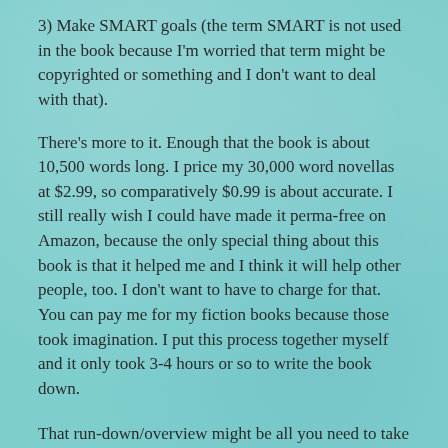3) Make SMART goals (the term SMART is not used in the book because I'm worried that term might be copyrighted or something and I don't want to deal with that).
There's more to it. Enough that the book is about 10,500 words long. I price my 30,000 word novellas at $2.99, so comparatively $0.99 is about accurate. I still really wish I could have made it perma-free on Amazon, because the only special thing about this book is that it helped me and I think it will help other people, too. I don't want to have to charge for that. You can pay me for my fiction books because those took imagination. I put this process together myself and it only took 3-4 hours or so to write the book down.
That run-down/overview might be all you need to take